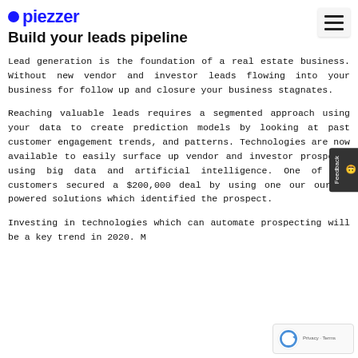[Figure (logo): Piezzel logo with blue dot and bold blue text]
Build your leads pipeline
Lead generation is the foundation of a real estate business. Without new vendor and investor leads flowing into your business for follow up and closure your business stagnates.
Reaching valuable leads requires a segmented approach using your data to create prediction models by looking at past customer engagement trends, and patterns. Technologies are now available to easily surface up vendor and investor prospects using big data and artificial intelligence. One of our customers secured a $200,000 deal by using one our our AI powered solutions which identified the prospect.
Investing in technologies which can automate prospecting will be a key trend in 2020. M…